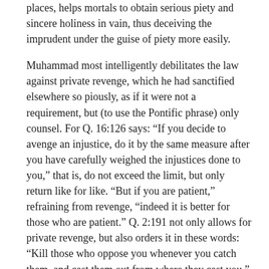places, helps mortals to obtain serious piety and sincere holiness in vain, thus deceiving the imprudent under the guise of piety more easily.
Muhammad most intelligently debilitates the law against private revenge, which he had sanctified elsewhere so piously, as if it were not a requirement, but (to use the Pontific phrase) only counsel. For Q. 16:126 says: “If you decide to avenge an injustice, do it by the same measure after you have carefully weighed the injustices done to you,” that is, do not exceed the limit, but only return like for like. “But if you are patient,” refraining from revenge, “indeed it is better for those who are patient.” Q. 2:191 not only allows for private revenge, but also orders it in these words: “Kill those who oppose you whenever you catch them, and cast them out from where they cast you.” And in verse 194: “whoever does you wrong, do wrong to them,” in turn, “just as he did wrong to you.” Indeed, he decrees that a reward is to be expected from God if someone avenges an injustice